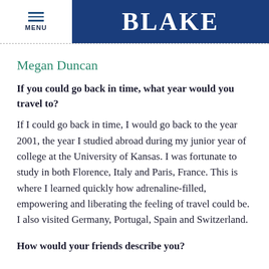MENU | BLAKE
Megan Duncan
If you could go back in time, what year would you travel to?
If I could go back in time, I would go back to the year 2001, the year I studied abroad during my junior year of college at the University of Kansas. I was fortunate to study in both Florence, Italy and Paris, France. This is where I learned quickly how adrenaline-filled, empowering and liberating the feeling of travel could be. I also visited Germany, Portugal, Spain and Switzerland.
How would your friends describe you?